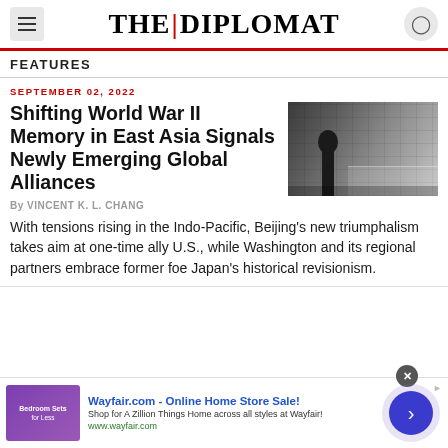THE DIPLOMAT
FEATURES
SEPTEMBER 02, 2022
Shifting World War II Memory in East Asia Signals Newly Emerging Global Alliances
[Figure (photo): Person silhouetted in a museum interior with display cases and large photographic panels on the walls]
By VINCENT K. L. CHANG
With tensions rising in the Indo-Pacific, Beijing's new triumphalism takes aim at one-time ally U.S., while Washington and its regional partners embrace former foe Japan's historical revisionism.
Wayfair.com - Online Home Store Sale! Shop for A Zillion Things Home across all styles at Wayfair! www.wayfair.com